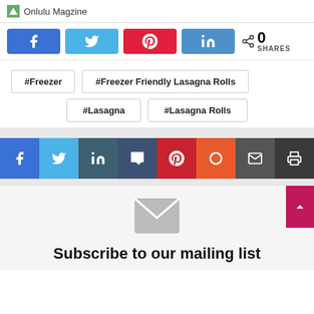Onlulu Magzine
[Figure (screenshot): Social share buttons: Facebook, Twitter, Pinterest, LinkedIn with share count of 0]
#Freezer
#Freezer Friendly Lasagna Rolls
#Lasagna
#Lasagna Rolls
[Figure (screenshot): Social share bar: Facebook, Twitter, LinkedIn, Tumblr, Pinterest, Reddit, Email, Print]
[Figure (screenshot): Large envelope icon for newsletter signup]
Subscribe to our mailing list